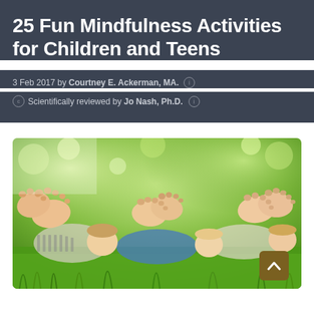25 Fun Mindfulness Activities for Children and Teens
3 Feb 2017 by Courtney E. Ackerman, MA.
Scientifically reviewed by Jo Nash, Ph.D.
[Figure (photo): Three children lying on grass with their bare feet raised toward the camera, photographed from below, with a bright green bokeh background.]